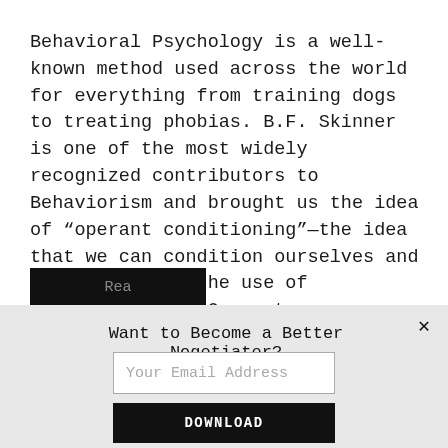Behavioral Psychology is a well-known method used across the world for everything from training dogs to treating phobias. B.F. Skinner is one of the most widely recognized contributors to Behaviorism and brought us the idea of “operant conditioning”—the idea that we can condition ourselves and others through the use of reinforcements. Operant conditioning suggests that ...
[Figure (other): Partially visible black button (Read more button, truncated at bottom)]
Want to Become a Better Negotiator?
Your Email Address
DOWNLOAD